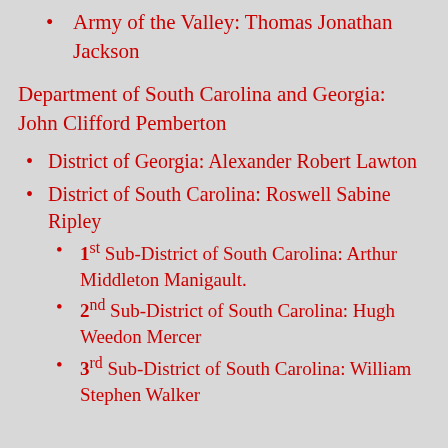Army of the Valley: Thomas Jonathan Jackson
Department of South Carolina and Georgia: John Clifford Pemberton
District of Georgia: Alexander Robert Lawton
District of South Carolina: Roswell Sabine Ripley
1st Sub-District of South Carolina: Arthur Middleton Manigault.
2nd Sub-District of South Carolina: Hugh Weedon Mercer
3rd Sub-District of South Carolina: William Stephen Walker